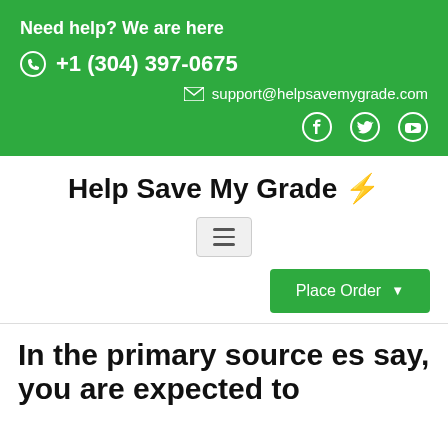Need help? We are here
+1 (304) 397-0675
support@helpsavemygrade.com
Help Save My Grade ⚡
[Figure (other): Hamburger menu button with three horizontal lines]
Place Order
In the primary source es say, you are expected to